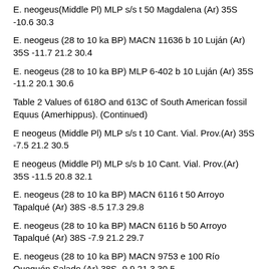E. neogeus(Middle Pl) MLP s/s t 50 Magdalena (Ar) 35S -10.6 30.3
E. neogeus (28 to 10 ka BP) MACN 11636 b 10 Luján (Ar) 35S -11.7 21.2 30.4
E. neogeus (28 to 10 ka BP) MLP 6-402 b 10 Luján (Ar) 35S -11.2 20.1 30.6
Table 2 Values of 618O and 613C of South American fossil Equus (Amerhippus). (Continued)
E neogeus (Middle Pl) MLP s/s t 10 Cant. Vial. Prov.(Ar) 35S -7.5 21.2 30.5
E neogeus (Middle Pl) MLP s/s b 10 Cant. Vial. Prov.(Ar) 35S -11.5 20.8 32.1
E. neogeus (28 to 10 ka BP) MACN 6116 t 50 Arroyo Tapalqué (Ar) 38S -8.5 17.3 29.8
E. neogeus (28 to 10 ka BP) MACN 6116 b 50 Arroyo Tapalqué (Ar) 38S -7.9 21.2 29.7
E. neogeus (28 to 10 ka BP) MACN 9753 e 100 Río Quequén Salado (Ar) 38S -9.9 21.3 30.5
E. neogeus (28 to 10 ka BP) MACN 9753 d 100 Río